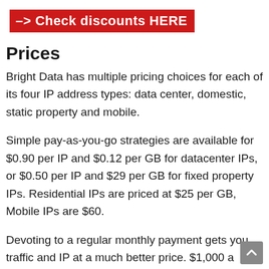–> Check discounts HERE
Prices
Bright Data has multiple pricing choices for each of its four IP address types: data center, domestic, static property and mobile.
Simple pay-as-you-go strategies are available for $0.90 per IP and $0.12 per GB for datacenter IPs, or $0.50 per IP and $29 per GB for fixed property IPs. Residential IPs are priced at $25 per GB, Mobile IPs are $60.
Devoting to a regular monthly payment gets you traffic and IP at a much better price. $1,000 a month for the Residential Production plan cuts property proxy costs to $10 per GB, while mobile traffic drops to $28 per GB.